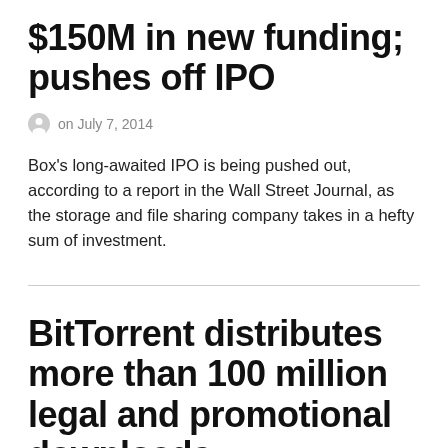$150M in new funding; pushes off IPO
on July 7, 2014
Box's long-awaited IPO is being pushed out, according to a report in the Wall Street Journal, as the storage and file sharing company takes in a hefty sum of investment.
BitTorrent distributes more than 100 million legal and promotional downloads